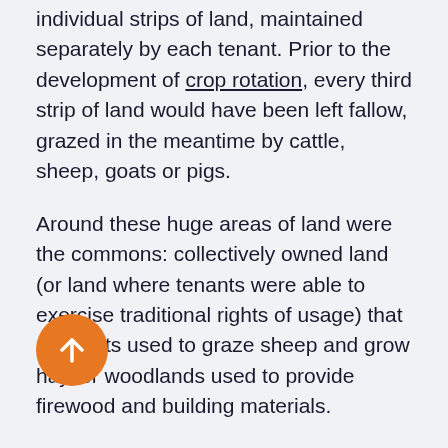individual strips of land, maintained separately by each tenant. Prior to the development of crop rotation, every third strip of land would have been left fallow, grazed in the meantime by cattle, sheep, goats or pigs.
Around these huge areas of land were the commons: collectively owned land (or land where tenants were able to exercise traditional rights of usage) that peasants used to graze sheep and grow hay, or woodlands used to provide firewood and building materials.
The population density of rural areas varied considerably across England. The most densely populated areas were in the lowland regions of East [partially obscured]. The highest population density in England in 1377 was in Bedfordshire, with a population of 73